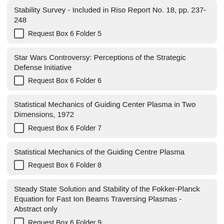Stability Survey - Included in Riso Report No. 18, pp. 237-248
Request Box 6 Folder 5
Star Wars Controversy: Perceptions of the Strategic Defense Initiative
Request Box 6 Folder 6
Statistical Mechanics of Guiding Center Plasma in Two Dimensions, 1972
Request Box 6 Folder 7
Statistical Mechanics of the Guiding Centre Plasma
Request Box 6 Folder 8
Steady State Solution and Stability of the Fokker-Planck Equation for Fast Ion Beams Traversing Plasmas - Abstract only
Request Box 6 Folder 9